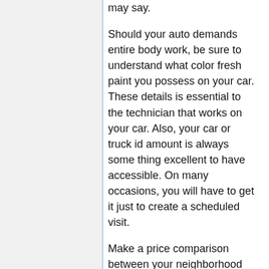may say.
Should your auto demands entire body work, be sure to understand what color fresh paint you possess on your car. These details is essential to the technician that works on your car. Also, your car or truck id amount is always some thing excellent to have accessible. On many occasions, you will have to get it just to create a scheduled visit.
Make a price comparison between your neighborhood auto entire body restoration retailers before you decide which to select. Despite the fact that effort expenses are quite uniform, the time that every go shopping considers the fix might take could change, in addition to the things they will charge a fee for the pieces. Be sure to shop around so that you will receive the best